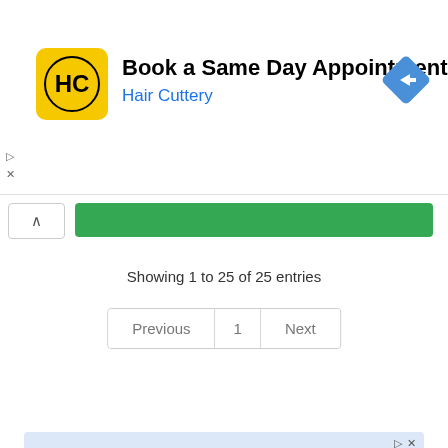[Figure (screenshot): Hair Cuttery advertisement banner with logo, headline 'Book a Same Day Appointment', subtext 'Hair Cuttery', and a blue direction/navigation icon on the right]
Showing 1 to 25 of 25 entries
[Figure (screenshot): Pagination controls showing Previous | 1 | Next buttons]
[Figure (screenshot): AIG Direct advertisement banner with headline 'Starting at $15/month', AIG Direct logo, and partial image of a baby]